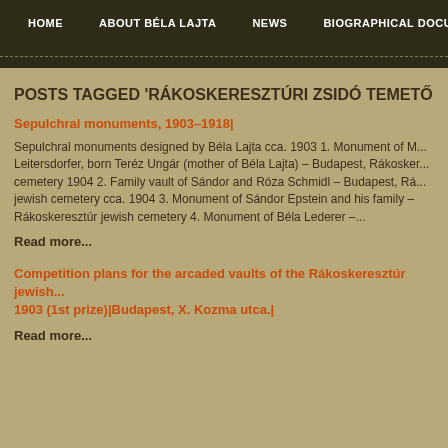HOME   ABOUT BÉLA LAJTA   NEWS   BIOGRAPHICAL DOCU
POSTS TAGGED 'RÁKOSKERESZTÚRI ZSIDÓ TEMETŐ
Sepulchral monuments, 1903–1918|
Sepulchral monuments designed by Béla Lajta cca. 1903 1. Monument of M... Leitersdorfer, born Teréz Ungár (mother of Béla Lajta) – Budapest, Rákosker... cemetery 1904 2. Family vault of Sándor and Róza Schmidl – Budapest, Rá... jewish cemetery cca. 1904 3. Monument of Sándor Epstein and his family – Rákoskeresztúr jewish cemetery 4. Monument of Béla Lederer –...
Read more...
Competition plans for the arcaded vaults of the Rákoskeresztúr jewish... 1903 (1st prize)|Budapest, X. Kozma utca.|
Read more...